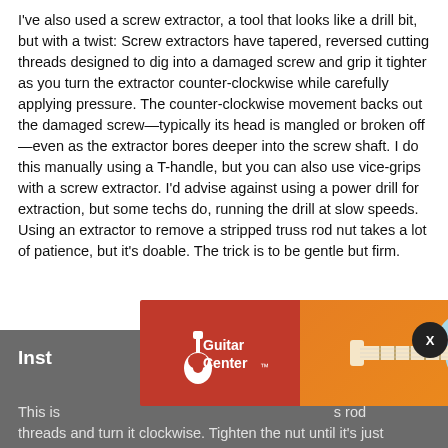I've also used a screw extractor, a tool that looks like a drill bit, but with a twist: Screw extractors have tapered, reversed cutting threads designed to dig into a damaged screw and grip it tighter as you turn the extractor counter-clockwise while carefully applying pressure. The counter-clockwise movement backs out the damaged screw—typically its head is mangled or broken off—even as the extractor bores deeper into the screw shaft. I do this manually using a T-handle, but you can also use vice-grips with a screw extractor. I'd advise against using a power drill for extraction, but some techs do, running the drill at slow speeds. Using an extractor to remove a stripped truss rod nut takes a lot of patience, but it's doable. The trick is to be gentle but firm.
Insta...
[Figure (other): Guitar Center advertisement banner showing Guitar Center logo on red background and a light blue electric guitar on orange background]
This is ... s rod threads and turn it clockwise. Tighten the nut until it's just